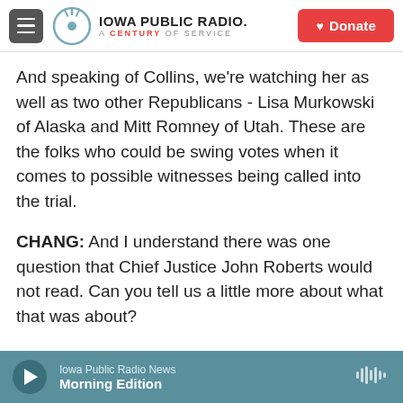Iowa Public Radio. A Century of Service.
And speaking of Collins, we're watching her as well as two other Republicans - Lisa Murkowski of Alaska and Mitt Romney of Utah. These are the folks who could be swing votes when it comes to possible witnesses being called into the trial.
CHANG: And I understand there was one question that Chief Justice John Roberts would not read. Can you tell us a little more about what that was about?
GRISALES: Yes, that was a very dramatic moment during today's trial. Republican Rand Paul of
Iowa Public Radio News
Morning Edition